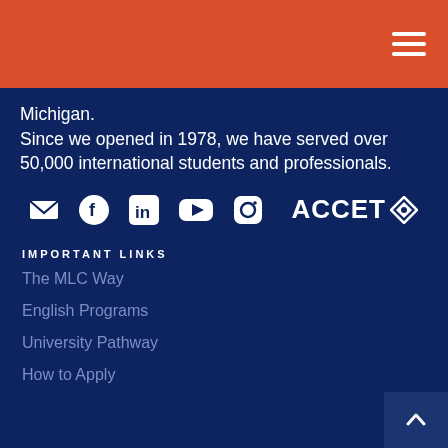Michigan.
Since we opened in 1978, we have served over 50,000 international students and professionals.
[Figure (logo): Social media icons: email, Facebook, LinkedIn, YouTube, Instagram. ACCET accreditation logo.]
IMPORTANT LINKS
The MLC Way
English Programs
University Pathway
How to Apply